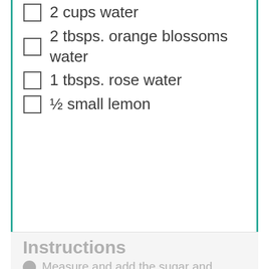2 cups water
2 tbsps. orange blossoms water
1 tbsps. rose water
½ small lemon
Instructions